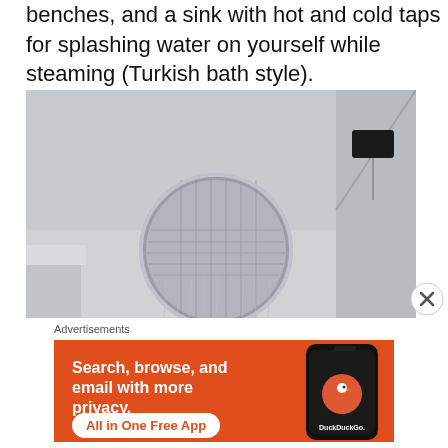benches, and a sink with hot and cold taps for splashing water on yourself while steaming (Turkish bath style).
[Figure (photo): Close-up photo of a large round overhead rain shower head mounted on ceiling, water streaming down, taken from below looking up]
Advertisements
[Figure (screenshot): DuckDuckGo advertisement banner with orange background showing 'Search, browse, and email with more privacy. All in One Free App' with DuckDuckGo logo on a phone mockup]